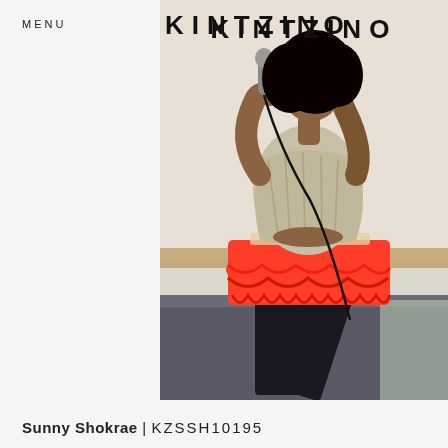MENU
KINTZINO
[Figure (photo): A performer (Sunny Shokrae) singing passionately into a microphone, head tilted back, wearing a printed top and bright red/coral ruffled skirt with black tights, kneeling on a bench in what appears to be a venue with a wood-paneled wall.]
Sunny Shokrae | KZSSH10195